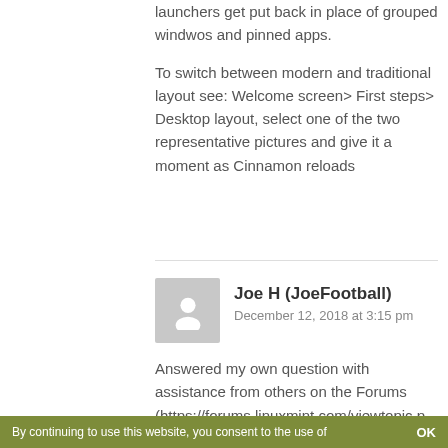launchers get put back in place of grouped windwos and pinned apps.

To switch between modern and traditional layout see: Welcome screen> First steps> Desktop layout, select one of the two representative pictures and give it a moment as Cinnamon reloads
Joe H (JoeFootball)
December 12, 2018 at 3:15 pm
Answered my own question with assistance from others on the Forums (https://forums.linuxmint.com/viewtopic.p
By continuing to use this website, you consent to the use of    OK